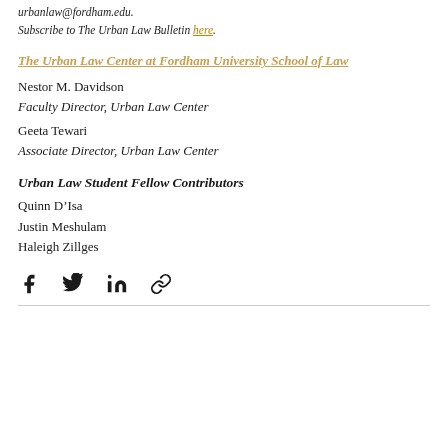urbanlaw@fordham.edu.
Subscribe to The Urban Law Bulletin here.
The Urban Law Center at Fordham University School of Law
Nestor M. Davidson
Faculty Director, Urban Law Center
Geeta Tewari
Associate Director, Urban Law Center
Urban Law Student Fellow Contributors
Quinn D’Isa
Justin Meshulam
Haleigh Zillges
[Figure (infographic): Social share icons: Facebook, Twitter, LinkedIn, and a link/chain icon]